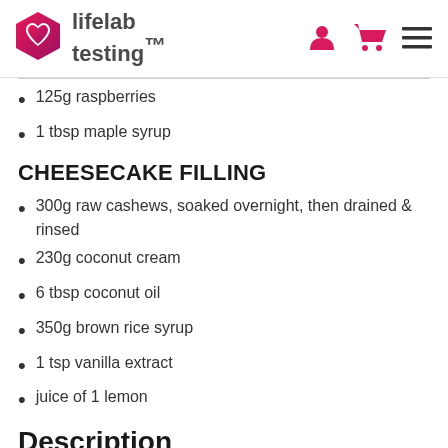lifelab testing
125g raspberries
1 tbsp maple syrup
CHEESECAKE FILLING
300g raw cashews, soaked overnight, then drained & rinsed
230g coconut cream
6 tbsp coconut oil
350g brown rice syrup
1 tsp vanilla extract
juice of 1 lemon
Description
1. Line an 8×8 inch tray with baking paper and